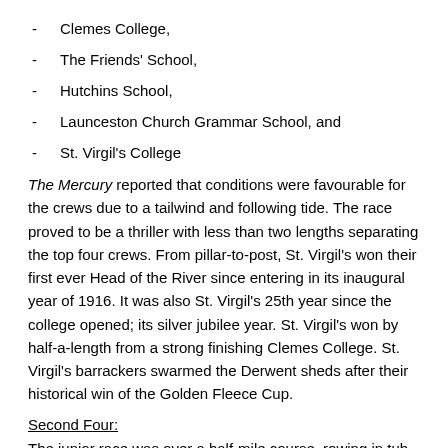Clemes College,
The Friends' School,
Hutchins School,
Launceston Church Grammar School, and
St. Virgil's College
The Mercury reported that conditions were favourable for the crews due to a tailwind and following tide. The race proved to be a thriller with less than two lengths separating the top four crews. From pillar-to-post, St. Virgil's won their first ever Head of the River since entering in its inaugural year of 1916. It was also St. Virgil's 25th year since the college opened; its silver jubilee year. St. Virgil's won by half-a-length from a strong finishing Clemes College. St. Virgil's barrackers swarmed the Derwent sheds after their historical win of the Golden Fleece Cup.
Second Four:
The junior race was over a half-mile course, rowing in tub boats. 4 crews started the junior race: